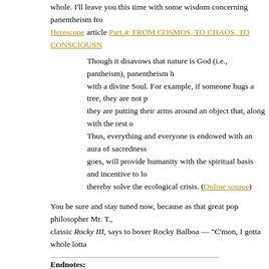whole. I'll leave you this time with some wisdom concerning panentheism fro
Herescope article Part 4: FROM COSMOS, TO CHAOS, TO CONSCIOUSN
Though it disavows that nature is God (i.e., pantheism), panentheism holds everything is imbued with a divine Soul. For example, if someone hugs a tree, they are not pantheistically worshiping it; they are putting their arms around an object that, along with the rest of nature, is part of God's body. Thus, everything and everyone is endowed with an aura of sacredness that, the argument goes, will provide humanity with the spiritual basis and incentive to love and care for it, and thereby solve the ecological crisis. (Online source)
You be sure and stay tuned now, because as that great pop philosopher Mr. T., in the movie classic Rocky III, says to boxer Rocky Balboa — "C'mon, I gotta whole lotta
Endnotes:
[1] Harvey Cox, The Future Of Faith [New York: HarperOne, 2010], back co
[2] Samir Selmanovic, It's Really All About God: Reflections of a Muslim Ath Jossey-Bass/Wiley, 2009], 262.
[3] I refute this Biblically in Understanding The New Spirituality: God Indwe
[4] Brian McLaren, Finding Faith: A Self-Discovery Guide for Your Spiritual 118.